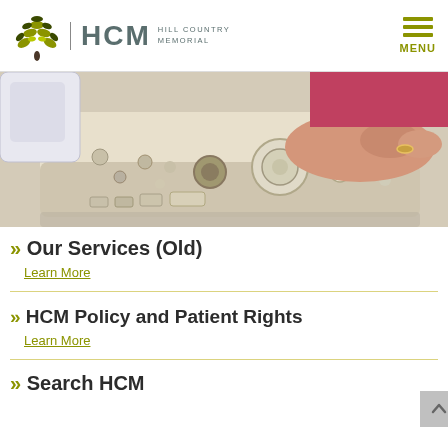HCM | HILL COUNTRY MEMORIAL — MENU
[Figure (photo): Close-up photograph of a person's hand operating ultrasound machine control panel with various knobs, buttons, and dials]
» Our Services (Old)
Learn More
» HCM Policy and Patient Rights
Learn More
» Search HCM